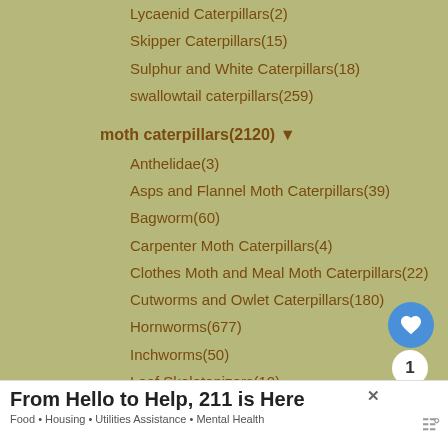Lycaenid Caterpillars(2)
Skipper Caterpillars(15)
Sulphur and White Caterpillars(18)
swallowtail caterpillars(259)
moth caterpillars(2120) ▼
Anthelidae(3)
Asps and Flannel Moth Caterpillars(39)
Bagworm(60)
Carpenter Moth Caterpillars(4)
Clothes Moth and Meal Moth Caterpillars(22)
Cutworms and Owlet Caterpillars(180)
Hornworms(677)
Inchworms(50)
Leaf Skeletonizers(10)
Leafroller Caterpillars(3)
Processionary Caterpillars(3)
Prominent Moth Caterpillars(86)
Silkworms(441) ▼
Hickory Horned Devil(33)
WHAT'S NEXT → American Pelecinid
From Hello to Help, 211 is Here
Food • Housing • Utilities Assistance • Mental Health